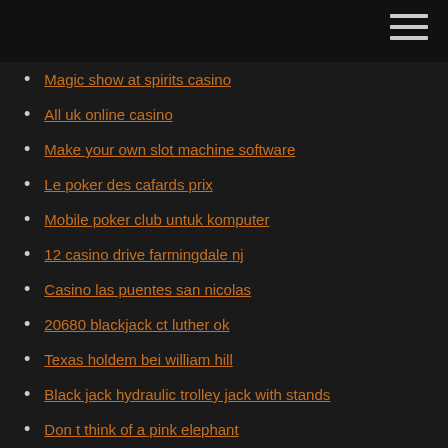Magic show at spirits casino
All uk online casino
Make your own slot machine software
Le poker des cafards prix
Mobile poker club untuk komputer
12 casino drive farmingdale nj
Casino las puentes san nicolas
20680 blackjack ct luther ok
Texas holdem bei william hill
Black jack hydraulic trolley jack with stands
Don t think of a pink elephant
Poker flat campground lake sonoma
Reno nugget casino slot games
Should you tip poker dealer